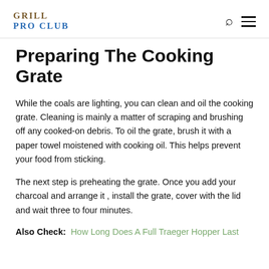GRILL PRO CLUB
Preparing The Cooking Grate
While the coals are lighting, you can clean and oil the cooking grate. Cleaning is mainly a matter of scraping and brushing off any cooked-on debris. To oil the grate, brush it with a paper towel moistened with cooking oil. This helps prevent your food from sticking.
The next step is preheating the grate. Once you add your charcoal and arrange it , install the grate, cover with the lid and wait three to four minutes.
Also Check:  How Long Does A Full Traeger Hopper Last